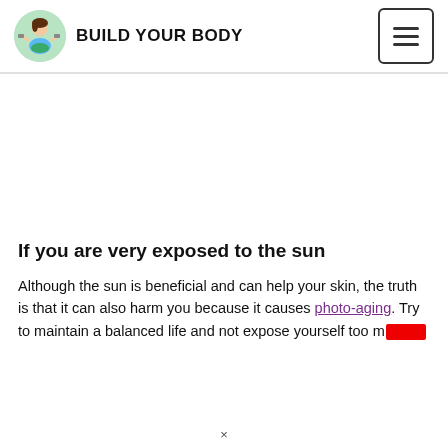BUILD YOUR BODY
[Figure (illustration): Circular logo with a cartoon woman in fitness attire holding dumbbells, with green background circle]
[Figure (other): Hamburger menu button icon (three horizontal lines in a bordered square)]
[Figure (other): Advertisement placeholder area (blank white space)]
If you are very exposed to the sun
Although the sun is beneficial and can help your skin, the truth is that it can also harm you because it causes photo-aging. Try to maintain a balanced life and not expose yourself too m[redacted]